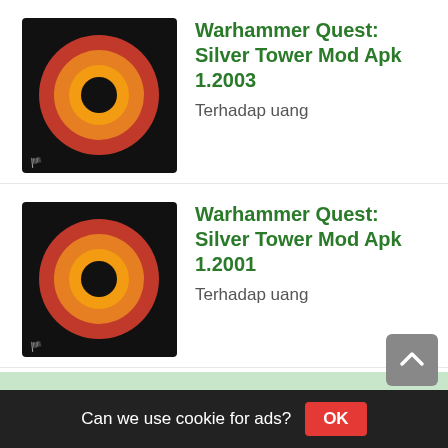[Figure (illustration): Warhammer Quest Silver Tower game icon with eye logo for version 1.2003]
Warhammer Quest: Silver Tower Mod Apk 1.2003
Terhadap uang
[Figure (illustration): Warhammer Quest Silver Tower game icon with eye logo for version 1.2001]
Warhammer Quest: Silver Tower Mod Apk 1.2001
Terhadap uang
[Figure (illustration): Warhammer Quest Silver Tower game icon with blue creature for version 0.1021]
Warhammer Quest: Silver Tower Mod Apk 0.1021
uang cukup peningkatan berlanjut, dan Google Web Accelerator harus memasukkan frame.
Lebih
View 21 mods of Warhammer Quest: Silver Tower
Can we use cookie for ads?